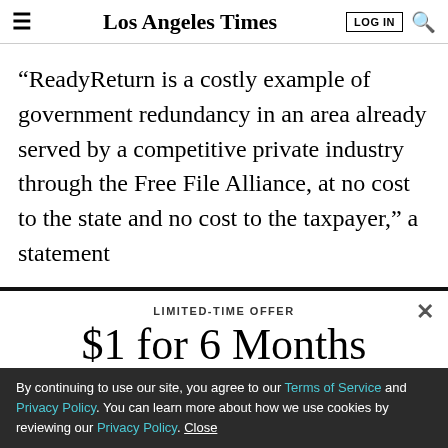Los Angeles Times
“ReadyReturn is a costly example of government redundancy in an area already served by a competitive private industry through the Free File Alliance, at no cost to the state and no cost to the taxpayer,” a statement
LIMITED-TIME OFFER
$1 for 6 Months
SUBSCRIBE NOW
By continuing to use our site, you agree to our Terms of Service and Privacy Policy. You can learn more about how we use cookies by reviewing our Privacy Policy. Close